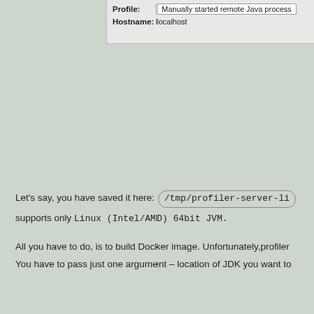[Figure (screenshot): Partial screenshot of a Java profiler configuration dialog showing Profile field set to 'Manually started remote Java process' and Hostname field set to 'localhost']
Let's say, you have saved it here: /tmp/profiler-server-li supports only Linux (Intel/AMD) 64bit JVM.
All you have to do, is to build Docker image. Unfortunately,profiler You have to pass just one argument – location of JDK you want to